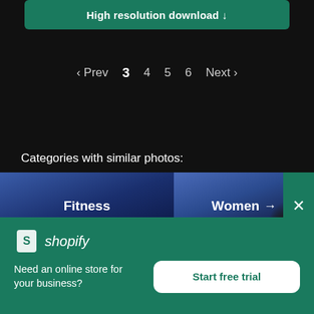[Figure (screenshot): High resolution download button - green rounded button with white text and down arrow]
‹ Prev  3  4  5  6  Next ›
Categories with similar photos:
[Figure (screenshot): Two category cards: 'Fitness' (blue gradient background) and 'Women' (blue gradient with partial photo of person, arrow icon) with a green X close button]
[Figure (logo): Shopify logo - white shopping bag icon with S and 'shopify' italic wordmark in white]
Need an online store for your business?
Start free trial